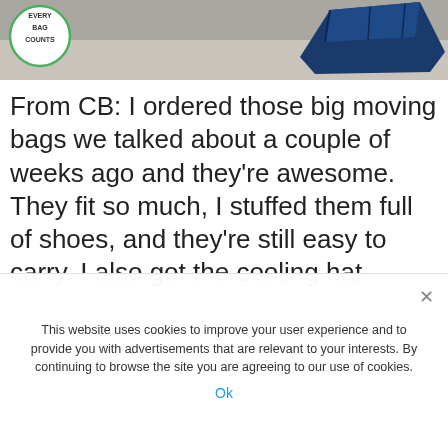[Figure (photo): Banner photo showing moving bags on a surface; includes a circular badge reading 'EVERY BAG COUNTS' and a blue folded bag on the right side.]
From CB: I ordered those big moving bags we talked about a couple of weeks ago and they're awesome. They fit so much, I stuffed them full of shoes, and they're still easy to carry. I also got the cooling hat
This website uses cookies to improve your user experience and to provide you with advertisements that are relevant to your interests. By continuing to browse the site you are agreeing to our use of cookies.
Ok